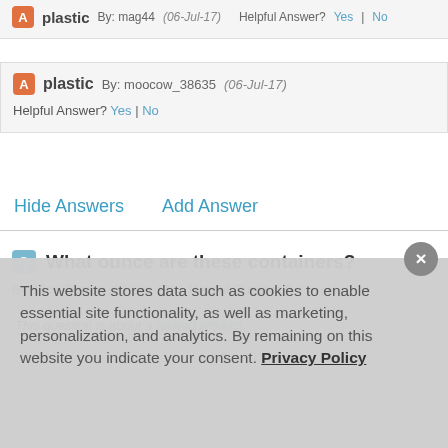plastic By: mag44 (06-Jul-17) Helpful Answer? Yes | No
plastic By: moocow_38635 (06-Jul-17) Helpful Answer? Yes | No
Hide Answers
Add Answer
What ounce are these containers?
By: Vicki Barron (09-Oct-19) Helpful Question? Yes | No
This question is about a related product.
This website stores data such as cookies to enable essential site functionality, as well as marketing, personalization, and analytics. By remaining on this website you indicate your consent. Privacy Policy